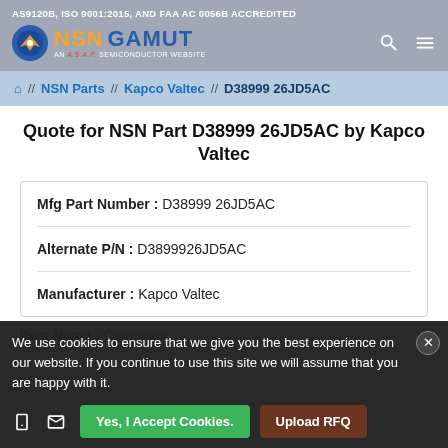AS9120B, ISO 9001:2015, AND FAA AC 0056B ACCREDITED
[Figure (logo): NSN Gamut logo - AN A.S.A.P SEMICONDUCTOR WEBSITE with circular icon]
NSN Parts // Kapco Valtec // D38999 26JD5AC
Quote for NSN Part D38999 26JD5AC by Kapco Valtec
Mfg Part Number : D38999 26JD5AC
Alternate P/N : D3899926JD5AC
Manufacturer : Kapco Valtec
Item Name : Connector
We use cookies to ensure that we give you the best experience on our website. If you continue to use this site we will assume that you are happy with it.